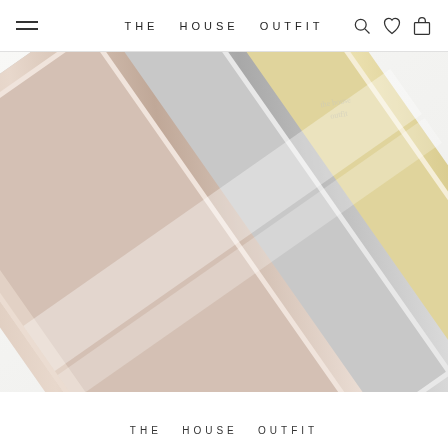THE HOUSE OUTFIT
[Figure (photo): Close-up photograph of multiple metallic picture frames stacked/fanned diagonally, showing silver, gold/champagne, and rose gold/cream finishes against a white background]
THE HOUSE OUTFIT